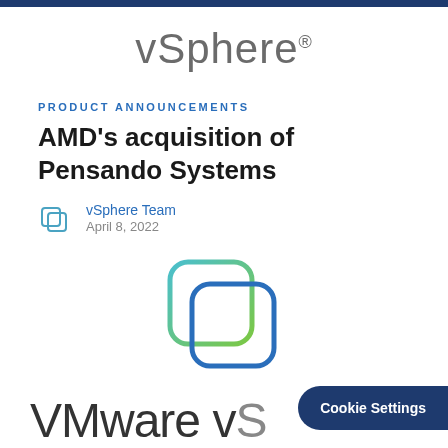vSphere®
Product Announcements
AMD's acquisition of Pensando Systems
vSphere Team
April 8, 2022
[Figure (logo): VMware vSphere logo — two overlapping rounded-square icons in blue and green/teal gradient]
VMware vS
Cookie Settings